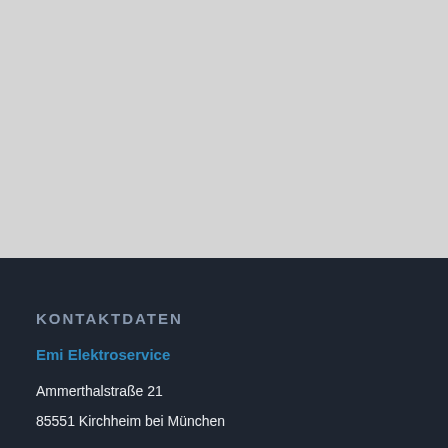[Figure (other): Light gray background area occupying the top portion of the page]
KONTAKTDATEN
Emi Elektroservice
Ammerthalstraße 21
85551 Kirchheim bei München